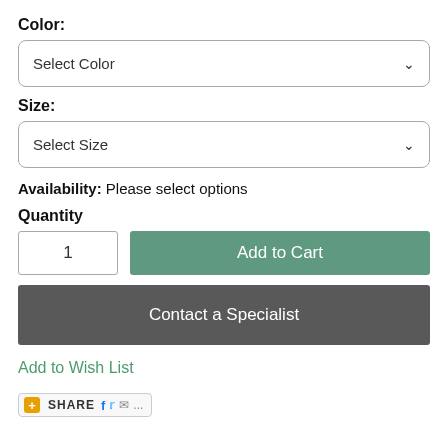Color:
Select Color
Size:
Select Size
Availability: Please select options
Quantity
1
Add to Cart
Contact a Specialist
Add to Wish List
SHARE